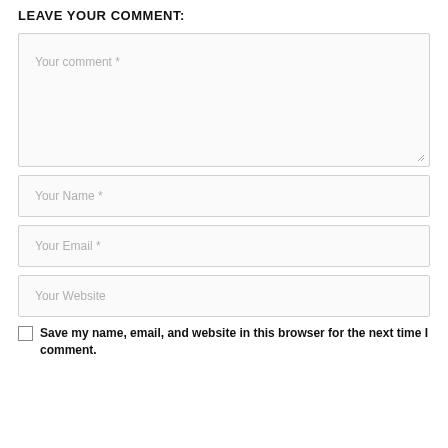LEAVE YOUR COMMENT:
Your comment *
Your Name *
Your Email *
Your Website
Save my name, email, and website in this browser for the next time I comment.